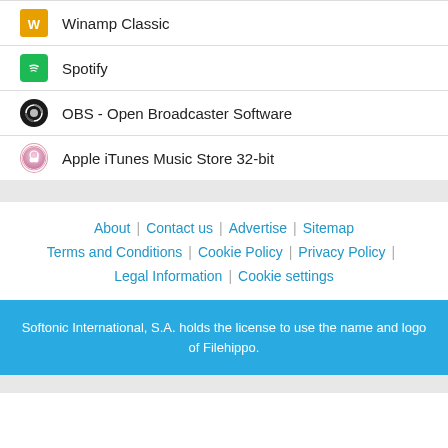Winamp Classic
Spotify
OBS - Open Broadcaster Software
Apple iTunes Music Store 32-bit
About | Contact us | Advertise | Sitemap
Terms and Conditions | Cookie Policy | Privacy Policy |
Legal Information | Cookie settings
Softonic International, S.A. holds the license to use the name and logo of Filehippo.